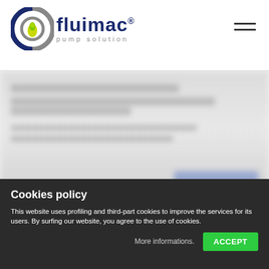[Figure (logo): Fluimac pump solution logo — circular icon with blue/grey ring, green/yellow drop, and company name in dark blue with tagline 'pump solution']
[Figure (screenshot): Blurred website content area showing indistinct text rows, a blue button on the right, and three product/pump images below]
Cookies policy
This website uses profiling and third-part cookies to improve the services for its users. By surfing our website, you agree to the use of cookies.
More informations.
ACCEPT